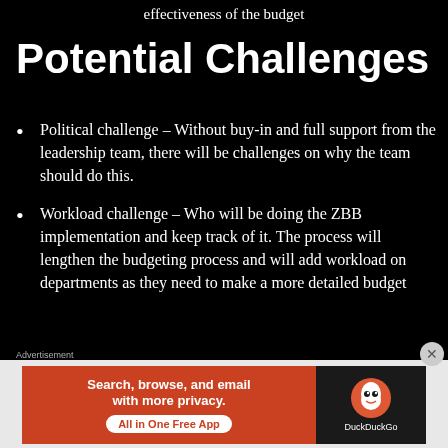effectiveness of the budget
Potential Challenges
Political challenge – Without buy-in and full support from the leadership team, there will be challenges on why the team should do this.
Workload challenge – Who will be doing the ZBB implementation and keep track of it. The process will lengthen the budgeting process and will add workload on departments as they need to make a more detailed budget